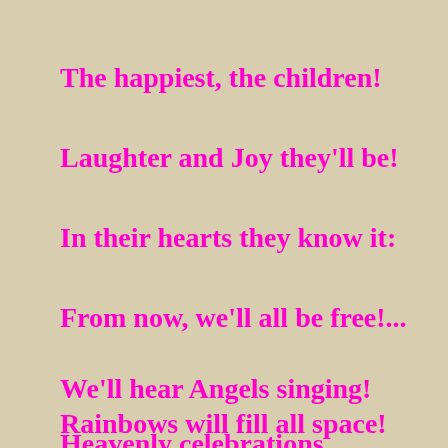The happiest, the children!
Laughter and Joy they'll be!
In their hearts they know it:
From now, we'll all be free!...
We'll hear Angels singing!
Rainbows will fill all space!
Heavenly celebrations